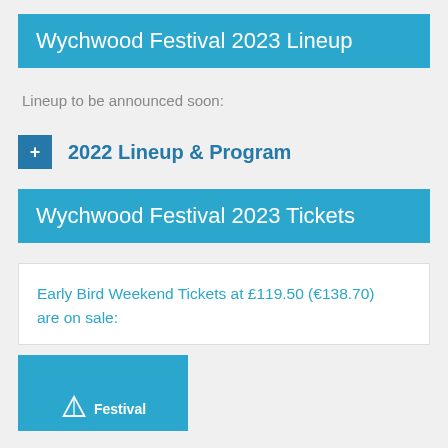Wychwood Festival 2023 Lineup
Lineup to be announced soon:
+ 2022 Lineup & Program
Wychwood Festival 2023 Tickets
Early Bird Weekend Tickets at £119.50 (€138.70) are on sale:
[Figure (other): Blue festival banner image with tent/festival icon and the word Festival]